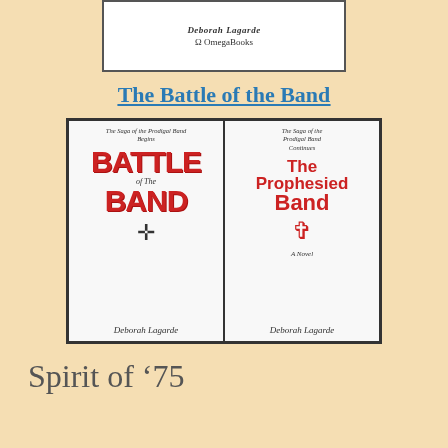[Figure (illustration): Top portion of a book cover showing author name 'Deborah Lagarde' and publisher 'Ω OmegaBooks']
The Battle of the Band
[Figure (illustration): Two book covers side by side: 'Battle of the Band' (The Saga of the Prodigal Band Begins) and 'The Prophesied Band' (The Saga of the Prodigal Band Continues), both by Deborah Lagarde]
Spirit of ’75